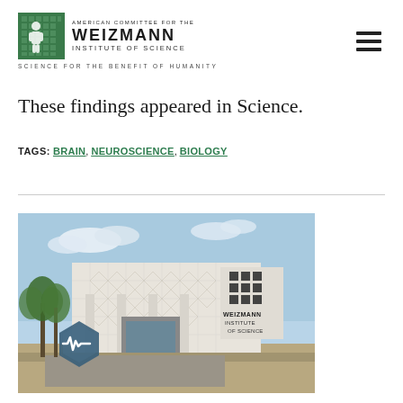AMERICAN COMMITTEE FOR THE WEIZMANN INSTITUTE OF SCIENCE — SCIENCE FOR THE BENEFIT OF HUMANITY
These findings appeared in Science.
TAGS: BRAIN, NEUROSCIENCE, BIOLOGY
[Figure (photo): Exterior photograph of the Weizmann Institute of Science building, showing a modern white building with geometric facade, palm trees, and the Weizmann Institute of Science sign. A hexagonal badge with a medical waveform icon is overlaid in the lower left of the image.]